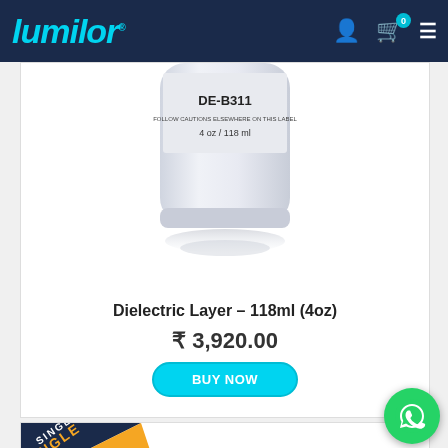LumiLor navigation bar with logo, user icon, cart (0 items), and menu
[Figure (photo): Partial view of DE-B311 dielectric layer product bottle, 4oz/118ml, white container with grey label, shown from the bottom portion]
Dielectric Layer – 118ml (4oz)
₹ 3,920.00
BUY NOW
[Figure (other): Bottom of page showing start of another product card with diagonal SINGLE ribbon badge in navy and orange, and WhatsApp contact button in bottom right corner]